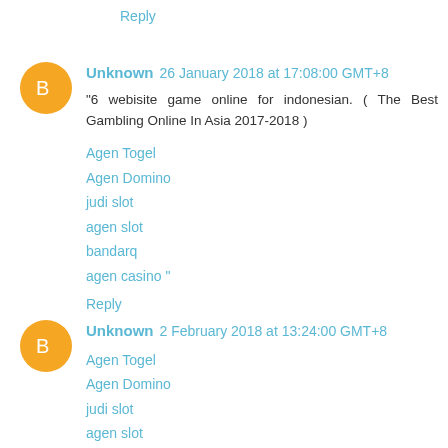Reply
Unknown 26 January 2018 at 17:08:00 GMT+8
"6 webisite game online for indonesian. ( The Best Gambling Online In Asia 2017-2018 )
Agen Togel
Agen Domino
judi slot
agen slot
bandarq
agen casino "
Reply
Unknown 2 February 2018 at 13:24:00 GMT+8
Agen Togel
Agen Domino
judi slot
agen slot